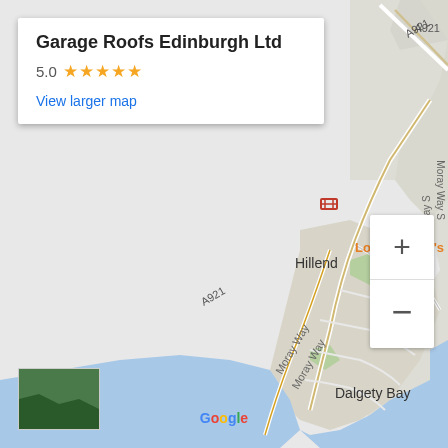[Figure (map): Google Maps screenshot showing the area around Dalgety Bay and Hillend in Scotland. The map shows road A921, Moray Way, coastal area with blue water (Firth of Forth), green parkland, and an orange location pin with a fork/knife icon labeled 'Louie Brown's'. Place names visible: Hillend, Dalgety Bay, Louie Brown's, A921, Moray Way. Zoom controls (+/-) visible in bottom right. Mini map thumbnail in bottom left. Google logo at bottom center.]
Garage Roofs Edinburgh Ltd
5.0 ★★★★★
View larger map